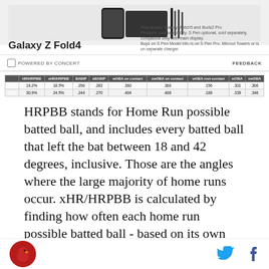[Figure (screenshot): Samsung Galaxy Z Fold4 advertisement banner with 'POWERED BY CONCERT' and 'FEEDBACK' text at the bottom]
|  | HR/HRPBB | xHR/HRPBB | BABIP | xBABIP | wOBA on contact | xwOBA on contact | wOBA non-contact | wOBA | xwOBA |
| --- | --- | --- | --- | --- | --- | --- | --- | --- | --- |
| 2015 | 18.2% | 18.5% | .290 | .283 | .360 | .366 | .156 | .301 | .306 |
| 2016 | 30.9% | 24.5% | .244 | .270 | .404 | .408 | .188 | .339 | .346 |
HRPBB stands for Home Run possible batted ball, and includes every batted ball that left the bat between 18 and 42 degrees, inclusive. Those are the angles where the large majority of home runs occur. xHR/HRPBB is calculated by finding how often each home run possible batted ball - based on its own specific combination of angle and velocity - will leave the park. xBABIP and xwOBA on contact are calculated
Logo icon, Twitter icon, Facebook icon